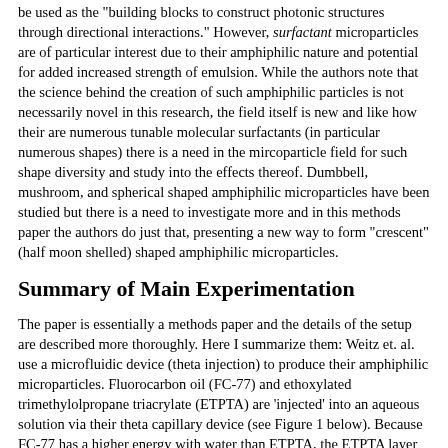be used as the "building blocks to construct photonic structures through directional interactions." However, surfactant microparticles are of particular interest due to their amphiphilic nature and potential for added increased strength of emulsion. While the authors note that the science behind the creation of such amphiphilic particles is not necessarily novel in this research, the field itself is new and like how their are numerous tunable molecular surfactants (in particular numerous shapes) there is a need in the mircoparticle field for such shape diversity and study into the effects thereof. Dumbbell, mushroom, and spherical shaped amphiphilic microparticles have been studied but there is a need to investigate more and in this methods paper the authors do just that, presenting a new way to form "crescent" (half moon shelled) shaped amphiphilic microparticles.
Summary of Main Experimentation
The paper is essentially a methods paper and the details of the setup are described more thoroughly. Here I summarize them: Weitz et. al. use a microfluidic device (theta injection) to produce their amphiphilic microparticles. Fluorocarbon oil (FC-77) and ethoxylated trimethylolpropane triacrylate (ETPTA) are 'injected' into an aqueous solution via their theta capillary device (see Figure 1 below). Because FC-77 has a higher energy with water than ETPTA, the ETPTA layer will wrap around the FC-77 layer. As they travel